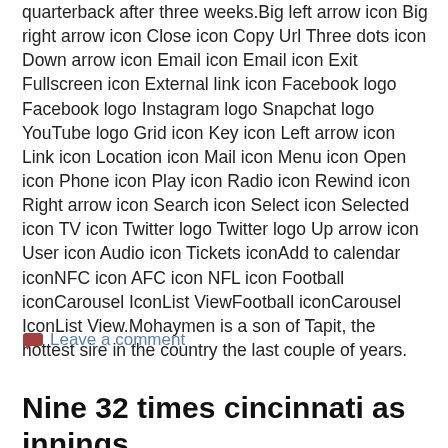quarterback after three weeks.Big left arrow icon Big right arrow icon Close icon Copy Url Three dots icon Down arrow icon Email icon Email icon Exit Fullscreen icon External link icon Facebook logo Facebook logo Instagram logo Snapchat logo YouTube logo Grid icon Key icon Left arrow icon Link icon Location icon Mail icon Menu icon Open icon Phone icon Play icon Radio icon Rewind icon Right arrow icon Search icon Select icon Selected icon TV icon Twitter logo Twitter logo Up arrow icon User icon Audio icon Tickets iconAdd to calendar iconNFC icon AFC icon NFL icon Football iconCarousel IconList ViewFootball iconCarousel IconList View.Mohaymen is a son of Tapit, the hottest sire in the country the last couple of years.
Leave a comment
Nine 32 times cincinnati as innings